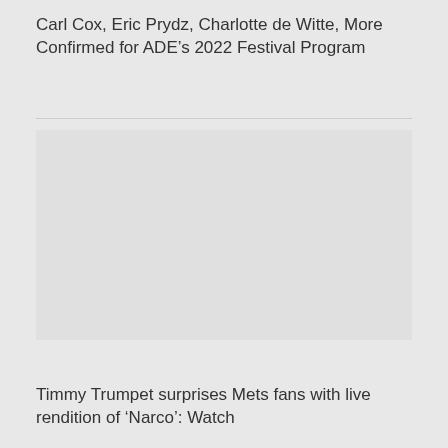Carl Cox, Eric Prydz, Charlotte de Witte, More Confirmed for ADE’s 2022 Festival Program
[Figure (photo): Large image placeholder area, light gray background]
Timmy Trumpet surprises Mets fans with live rendition of ‘Narco’: Watch